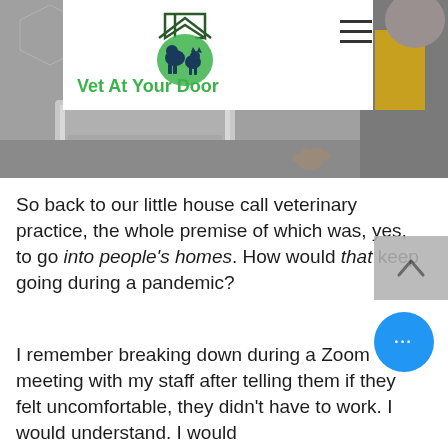[Figure (photo): Header photo showing a laptop, a cat's paw on the floor, and a person in a yellow jacket in the background. A white box in the upper left contains the Vet At Your Door logo (dog and cat silhouettes under a house roof in green and dark blue) with green text reading 'Vet At Your Door'. A hamburger menu icon is in the upper right of the white box.]
So back to our little house call veterinary practice, the whole premise of which was, yes, to go into people's homes. How would that keep going during a pandemic?
I remember breaking down during a Zoom meeting with my staff after telling them if they felt uncomfortable, they didn't have to work. I would understand. I would